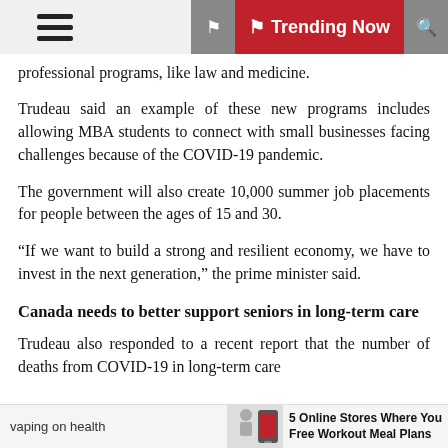☰  🏳 Trending Now  🔍
professional programs, like law and medicine.
Trudeau said an example of these new programs includes allowing MBA students to connect with small businesses facing challenges because of the COVID-19 pandemic.
The government will also create 10,000 summer job placements for people between the ages of 15 and 30.
“If we want to build a strong and resilient economy, we have to invest in the next generation,” the prime minister said.
Canada needs to better support seniors in long-term care
Trudeau also responded to a recent report that the number of deaths from COVID-19 in long-term care
vaping on health   5 Online Stores Where You Free Workout Meal Plans